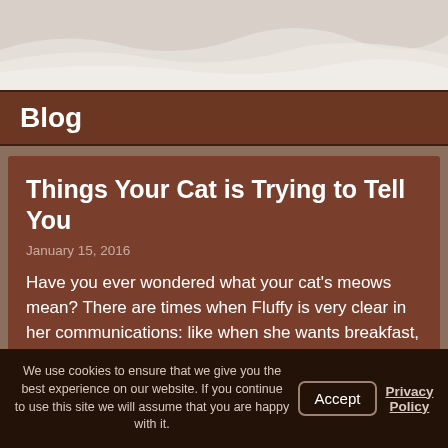[Figure (photo): Top portion of a blog header image showing a white/cream textured abstract background with wave-like shapes]
Blog
Things Your Cat is Trying to Tell You
January 15, 2016
Have you ever wondered what your cat's meows mean? There are times when Fluffy is very clear in her communications: like when she wants breakfast, for instance. Or lunch. Or dinner. At other times, your feline friend's meows may not be so easy to decipher. We are here to help! Below, a Neshoba County, MS
We use cookies to ensure that we give you the best experience on our website. If you continue to use this site we will assume that you are happy with it.
Accept
Privacy Policy